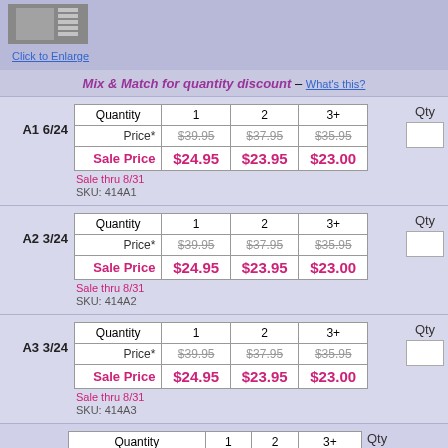[Figure (photo): Product image thumbnail showing stacked shelving or similar product]
Click to Enlarge
Mix & Match for quantity discount - What's this?
| Quantity | 1 | 2 | 3+ |
| --- | --- | --- | --- |
| Price* | $39.95 | $37.95 | $35.95 |
| Sale Price | $24.95 | $23.95 | $23.00 |
A1 6/24
Sale thru 8/31
SKU: 414A1
| Quantity | 1 | 2 | 3+ |
| --- | --- | --- | --- |
| Price* | $39.95 | $37.95 | $35.95 |
| Sale Price | $24.95 | $23.95 | $23.00 |
A2 3/24
Sale thru 8/31
SKU: 414A2
| Quantity | 1 | 2 | 3+ |
| --- | --- | --- | --- |
| Price* | $39.95 | $37.95 | $35.95 |
| Sale Price | $24.95 | $23.95 | $23.00 |
A3 3/24
Sale thru 8/31
SKU: 414A3
| Quantity | 1 | 2 | 3+ |
| --- | --- | --- | --- |